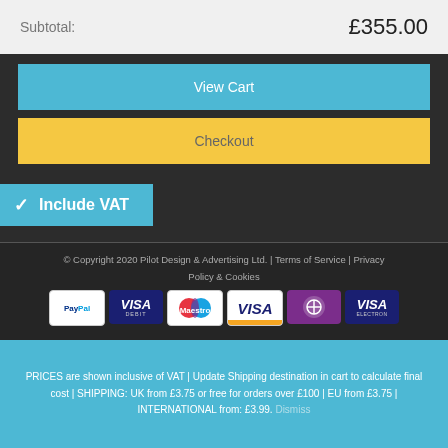| Label | Amount |
| --- | --- |
| Subtotal: | £355.00 |
View Cart
Checkout
✓ Include VAT
© Copyright 2020 Pilot Design & Advertising Ltd. | Terms of Service | Privacy Policy & Cookies
[Figure (other): Payment method icons: PayPal, VISA Debit, Maestro, VISA, Solo, VISA Electron]
PRICES are shown inclusive of VAT | Update Shipping destination in cart to calculate final cost | SHIPPING: UK from £3.75 or free for orders over £100 | EU from £3.75 | INTERNATIONAL from: £3.99. Dismiss